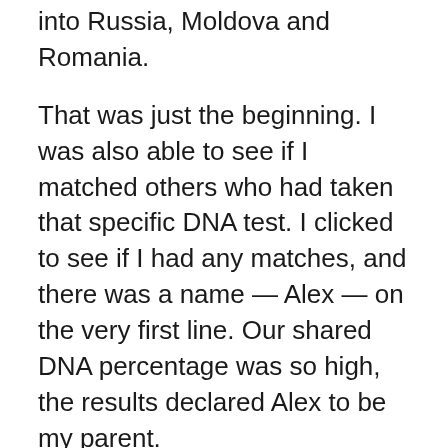into Russia, Moldova and Romania.
That was just the beginning. I was also able to see if I matched others who had taken that specific DNA test. I clicked to see if I had any matches, and there was a name — Alex — on the very first line. Our shared DNA percentage was so high, the results declared Alex to be my parent.
I couldn't even catch my breath.
My husband and I later looked him up on social media and found a profile that matched the name.
"This is him. He looks just like you," my husband